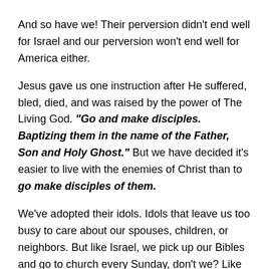And so have we! Their perversion didn't end well for Israel and our perversion won't end well for America either.
Jesus gave us one instruction after He suffered, bled, died, and was raised by the power of The Living God. “Go and make disciples. Baptizing them in the name of the Father, Son and Holy Ghost.” But we have decided it’s easier to live with the enemies of Christ than to go make disciples of them.
We’ve adopted their idols. Idols that leave us too busy to care about our spouses, children, or neighbors. But like Israel, we pick up our Bibles and go to church every Sunday, don’t we? Like carrying a Bible is our ticket in Heaven’s door. But have we opened The Word during the week? How do we treat our neighbors? Do we even see